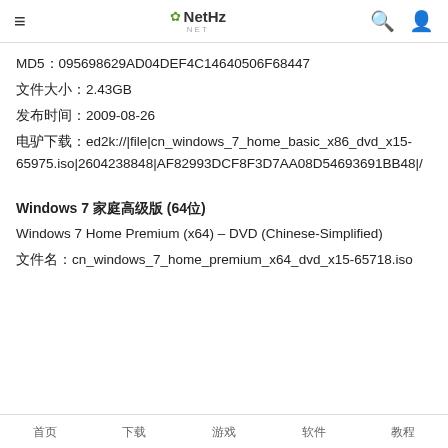≡  NetHz NET  🔍  👤
MD5：095698629AD04DEF4C14640506F68447
文件大小：2.43GB
发布时间：2009-08-26
电驴下载：ed2k://|file|cn_windows_7_home_basic_x86_dvd_x15-65975.iso|2604238848|AF82993DCF8F3D7AA08D54693691BB48|/
Windows 7 家庭高级版 (64位)
Windows 7 Home Premium (x64) – DVD (Chinese-Simplified)
文件名：cn_windows_7_home_premium_x64_dvd_x15-65718.iso
首页  下载  游戏  软件  教程